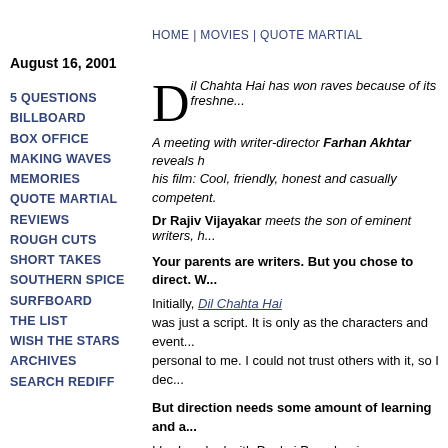HOME | MOVIES | QUOTE MARTIAL
August 16, 2001
5 QUESTIONS
BILLBOARD
BOX OFFICE
MAKING WAVES
MEMORIES
QUOTE MARTIAL
REVIEWS
ROUGH CUTS
SHORT TAKES
SOUTHERN SPICE
SURFBOARD
THE LIST
WISH THE STARS
ARCHIVES
SEARCH REDIFF
Dil Chahta Hai has won raves because of its freshne...
A meeting with writer-director Farhan Akhtar reveals his film: Cool, friendly, honest and casually competent.
Dr Rajiv Vijayakar meets the son of eminent writers, h...
Your parents are writers. But you chose to direct. W...
Initially, Dil Chahta Hai was just a script. It is only as the characters and events... personal to me. I could not trust others with it, so I dec...
But direction needs some amount of learning and a...
I had worked with Pankaj Parashar in Himalayputra, th... general assistant and copywriter for three years for Sc...